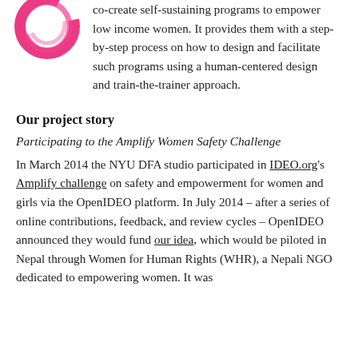[Figure (logo): Pink/magenta circular brush-stroke logo]
co-create self-sustaining programs to empower low income women. It provides them with a step-by-step process on how to design and facilitate such programs using a human-centered design and train-the-trainer approach.
Our project story
Participating to the Amplify Women Safety Challenge
In March 2014 the NYU DFA studio participated in IDEO.org's Amplify challenge on safety and empowerment for women and girls via the OpenIDEO platform. In July 2014 – after a series of online contributions, feedback, and review cycles – OpenIDEO announced they would fund our idea, which would be piloted in Nepal through Women for Human Rights (WHR), a Nepali NGO dedicated to empowering women. It was